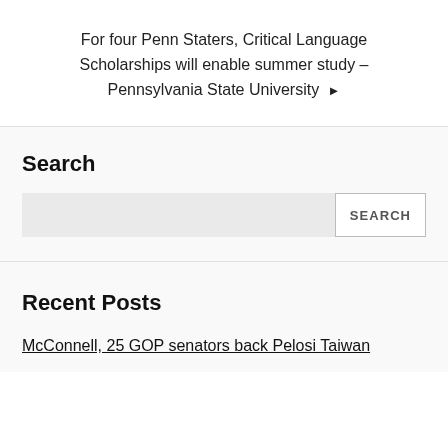For four Penn Staters, Critical Language Scholarships will enable summer study – Pennsylvania State University ▶
Search
Recent Posts
McConnell, 25 GOP senators back Pelosi Taiwan